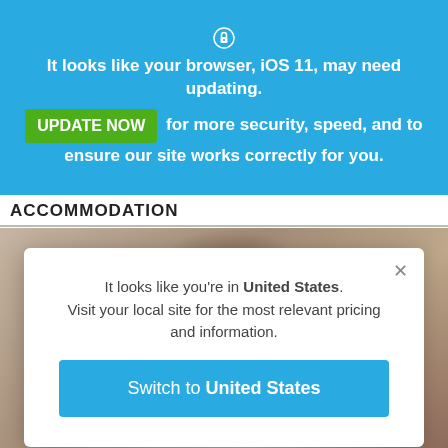[Figure (screenshot): Lock/shield icon at top of blue browser update banner]
It looks like your browser, iOS 11, may need updating.
UPDATE NOW  for more security, speed, and to ensure our site works correctly for you.
ACCOMMODATION
[Figure (photo): Blurred warm-toned interior photo partially visible behind modal dialog]
It looks like you're in United States.
Visit your local site for the most relevant pricing and information.
Switch to United States